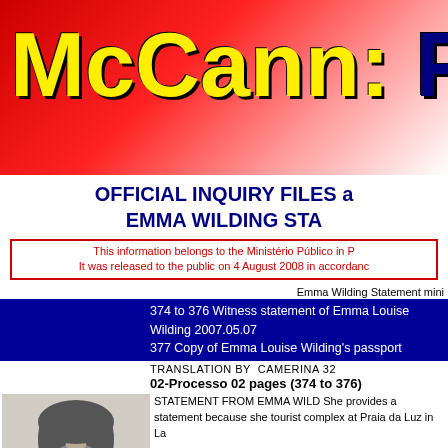McCann: P
OFFICIAL INQUIRY FILES a EMMA WILDING STA
This information belongs to the Ministério Público in P It was released to the public on 4 August 2008 in accordanc
Emma Wilding Statement mini
374 to 376 Witness statement of Emma Louise Wilding 2007.05.07
377 Copy of Emma Louise Wilding's passport
TRANSLATION BY  CAMERINA 32
02-Processo 02 pages (374 to 376)
[Figure (photo): Black and white passport-style photo of Emma Louise Wilding]
STATEMENT FROM EMMA WILD She provides a statement because she tourist complex at Praia da Luz in La She states that she does not speak Po Robert Murat, residing at Casa Lilian phone xxxxxx. She has been working